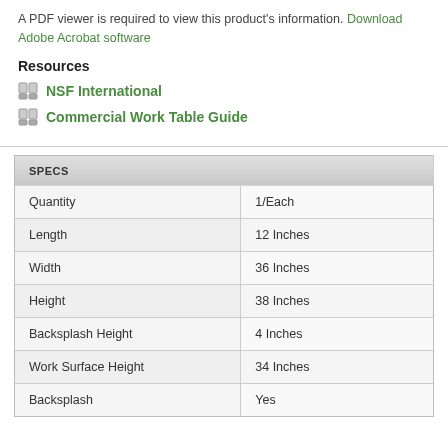A PDF viewer is required to view this product's information. Download Adobe Acrobat software
Resources
NSF International
Commercial Work Table Guide
| SPECS |  |
| --- | --- |
| Quantity | 1/Each |
| Length | 12 Inches |
| Width | 36 Inches |
| Height | 38 Inches |
| Backsplash Height | 4 Inches |
| Work Surface Height | 34 Inches |
| Backsplash | Yes |